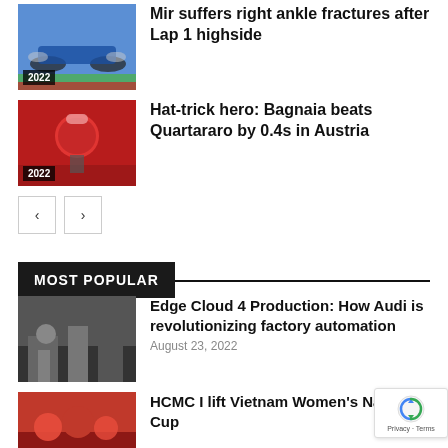[Figure (photo): Motorcycle racer on track, year badge 2022]
Mir suffers right ankle fractures after Lap 1 highside
[Figure (photo): Motorcycle racer with red helmet, year badge 2022]
Hat-trick hero: Bagnaia beats Quartararo by 0.4s in Austria
< >
MOST POPULAR
[Figure (photo): Factory automation scene with person]
Edge Cloud 4 Production: How Audi is revolutionizing factory automation
August 23, 2022
[Figure (photo): Sports team celebrating]
HCMC I lift Vietnam Women's National Cup 2022